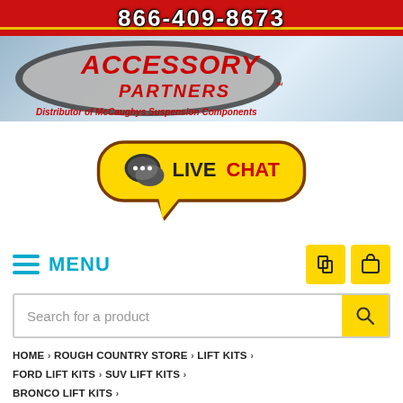866-409-8673
[Figure (logo): Accessory Partners logo with oval graphic and text 'Distributor of McCaughys Suspension Components']
[Figure (infographic): Live Chat button with speech bubble icon and text LIVE CHAT]
MENU
Search for a product
HOME > ROUGH COUNTRY STORE > LIFT KITS > FORD LIFT KITS > SUV LIFT KITS > BRONCO LIFT KITS >